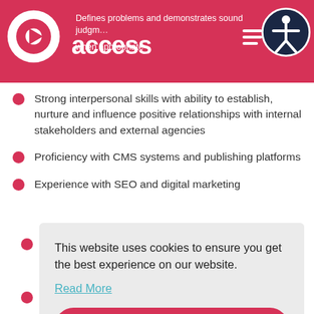Defines problems and demonstrates sound judgm... when appropriate | access
Strong interpersonal skills with ability to establish, nurture and influence positive relationships with internal stakeholders and external agencies
Proficiency with CMS systems and publishing platforms
Experience with SEO and digital marketing
This website uses cookies to ensure you get the best experience on our website.
Read More
Got it!